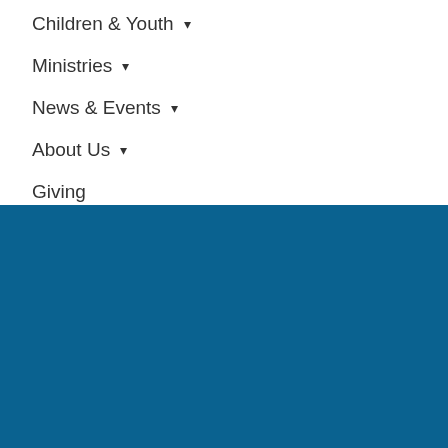Children & Youth ▾
Ministries ▾
News & Events ▾
About Us ▾
Giving
[Figure (other): Solid dark blue background section filling the lower half of the page]